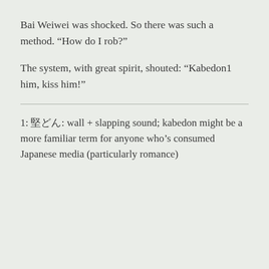Bai Weiwei was shocked. So there was such a method. “How do I rob?”
The system, with great spirit, shouted: “Kabedon1 him, kiss him!”
1: 壁どん: wall + slapping sound; kabedon might be a more familiar term for anyone who’s consumed Japanese media (particularly romance)